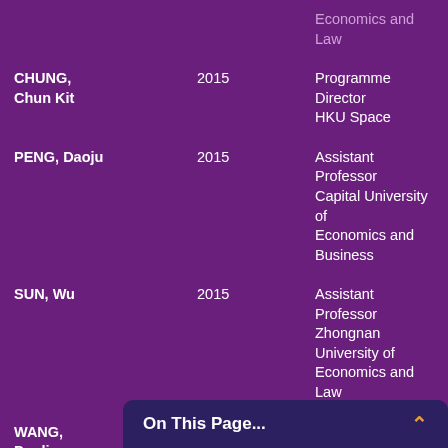| Name | Year | Position |
| --- | --- | --- |
| CHUNG, Chun Kit | 2015 | Programme Director HKU Space |
| PENG, Daoju | 2015 | Assistant Professor Capital University of Economics and Business |
| SUN, Wu | 2015 | Assistant Professor Zhongnan University of Economics and Law |
| WANG, Danli | 2015 | Assistant Professor Shanghai University of International Business and Economics |
| WONG, Kin Ming | 2015 | Assistant Professor Chu Hai College of Higher Education |
| DENG, Weiguang | 2014 | Assistant Professor |
| DING, | 2014 |  |
On This Page...